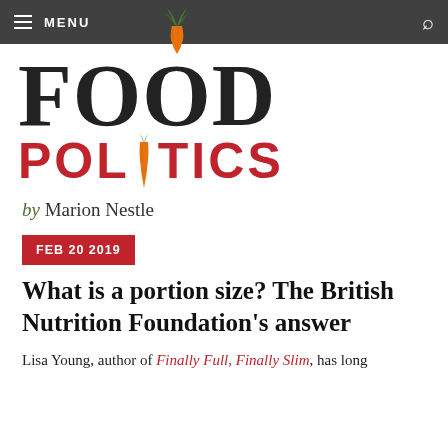MENU | search
[Figure (logo): Food Politics logo with large serif FOOD text and red sans-serif POLITICS text, with a carrot replacing the letter I in POLITICS]
by Marion Nestle
FEB 20 2019
What is a portion size? The British Nutrition Foundation's answer
Lisa Young, author of Finally Full, Finally Slim, has long